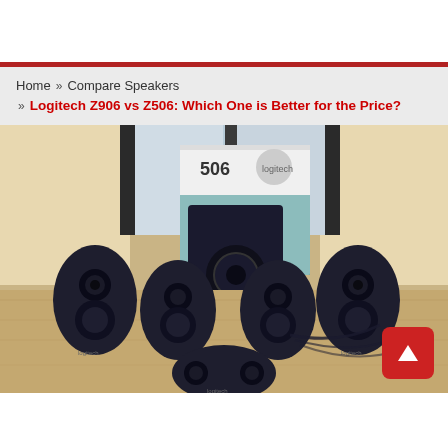Home » Compare Speakers » Logitech Z906 vs Z506: Which One is Better for the Price?
[Figure (photo): Logitech Z506 5.1 surround sound speaker system with subwoofer and five satellite speakers arranged on a wooden table, with product box in background near a window]
[Figure (other): Red scroll-to-top button with upward arrow in bottom right corner]